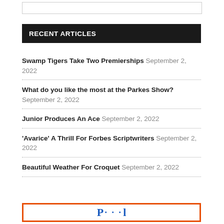RECENT ARTICLES
Swamp Tigers Take Two Premierships September 2, 2022
What do you like the most at the Parkes Show? September 2, 2022
Junior Produces An Ace September 2, 2022
'Avarice' A Thrill For Forbes Scriptwriters September 2, 2022
Beautiful Weather For Croquet September 2, 2022
[Figure (logo): Logo with blue text and orange border at bottom of page]